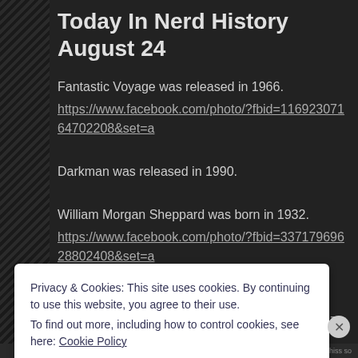Today In Nerd History August 24
Fantastic Voyage was released in 1966.
https://www.facebook.com/photo/?fbid=11692307164702208set=a
Darkman was released in 1990.
William Morgan Sheppard was born in 1932.
https://www.facebook.com/photo/?fbid=33717969628802408set=a
Steve Guttenberg was born in 1958.
https://www.facebook.com/photo/?fbid=33738867489339854&set=a
Privacy & Cookies: This site uses cookies. By continuing to use this website, you agree to their use.
To find out more, including how to control cookies, see here: Cookie Policy
Close and accept